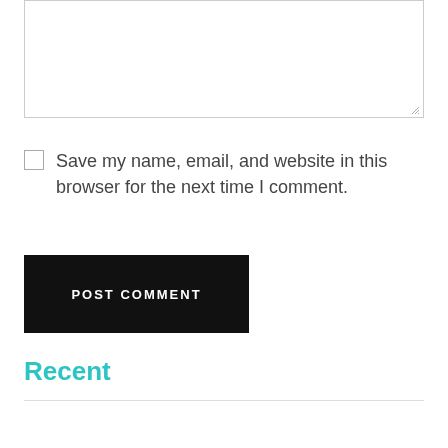[Figure (screenshot): A text area input box with a resize handle at the bottom-right corner]
Save my name, email, and website in this browser for the next time I comment.
POST COMMENT
Recent